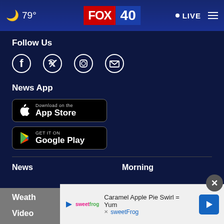🌙 79° | FOX 40 | LIVE
Follow Us
[Figure (infographic): Row of social media icons: Facebook, Twitter, Instagram, Email]
News App
[Figure (infographic): Download on the App Store button (black, Apple logo)]
[Figure (infographic): Get it on Google Play button (black, Play Store triangle logo)]
News | Morning
Weather | Community
Video
[Figure (infographic): Advertisement banner: Caramel Apple Pie Swirl = Yum, sweetFrog brand ad with close button]